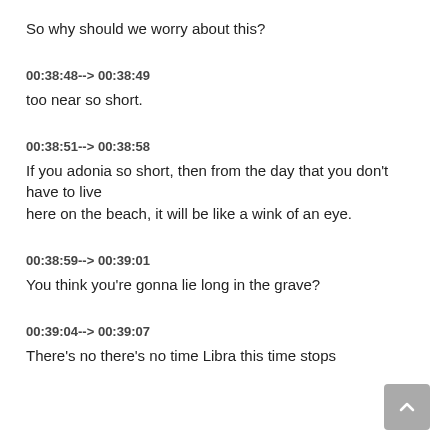So why should we worry about this?
00:38:48--> 00:38:49
too near so short.
00:38:51--> 00:38:58
If you adonia so short, then from the day that you don't have to live here on the beach, it will be like a wink of an eye.
00:38:59--> 00:39:01
You think you're gonna lie long in the grave?
00:39:04--> 00:39:07
There's no there's no time Libra this time stops